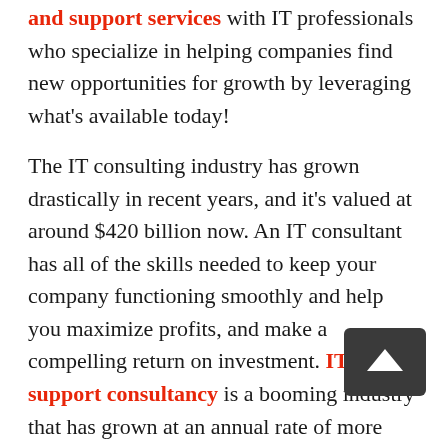and support services with IT professionals who specialize in helping companies find new opportunities for growth by leveraging what's available today!
The IT consulting industry has grown drastically in recent years, and it's valued at around $420 billion now. An IT consultant has all of the skills needed to keep your company functioning smoothly and help you maximize profits, and make a compelling return on investment. IT support consultancy is a booming industry that has grown at an annual rate of more than 10% for the past five years. However, there are many questions about what IT consultants do and